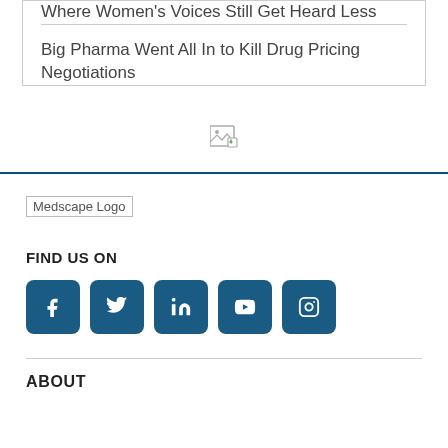Where Women's Voices Still Get Heard Less
Big Pharma Went All In to Kill Drug Pricing Negotiations
[Figure (photo): Broken image placeholder icon]
[Figure (logo): Medscape Logo]
FIND US ON
[Figure (infographic): Social media icons: Facebook, Twitter, LinkedIn, YouTube, Instagram]
ABOUT